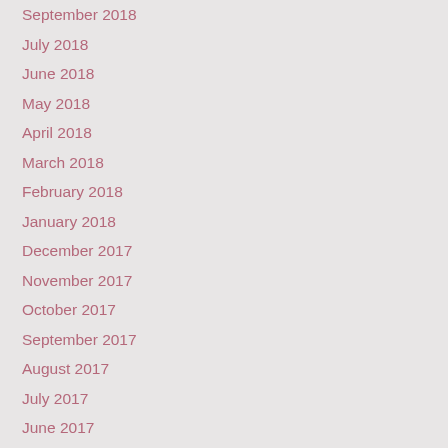September 2018
July 2018
June 2018
May 2018
April 2018
March 2018
February 2018
January 2018
December 2017
November 2017
October 2017
September 2017
August 2017
July 2017
June 2017
May 2017
April 2017
March 2017
February 2017